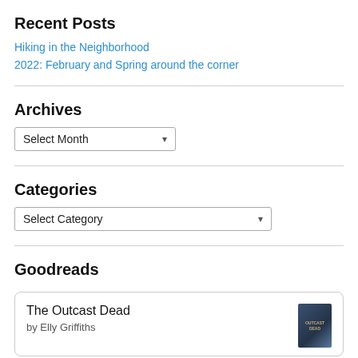Recent Posts
Hiking in the Neighborhood
2022: February and Spring around the corner
Archives
Select Month
Categories
Select Category
Goodreads
The Outcast Dead
by Elly Griffiths